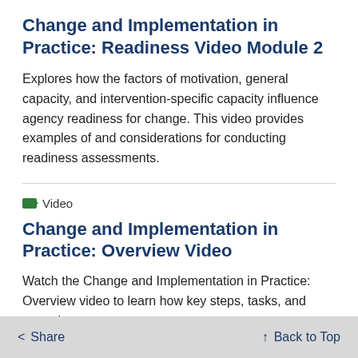Change and Implementation in Practice: Readiness Video Module 2
Explores how the factors of motivation, general capacity, and intervention-specific capacity influence agency readiness for change. This video provides examples of and considerations for conducting readiness assessments.
Video
Change and Implementation in Practice: Overview Video
Watch the Change and Implementation in Practice: Overview video to learn how key steps, tasks, and ... t together to support y
Share   Back to Top